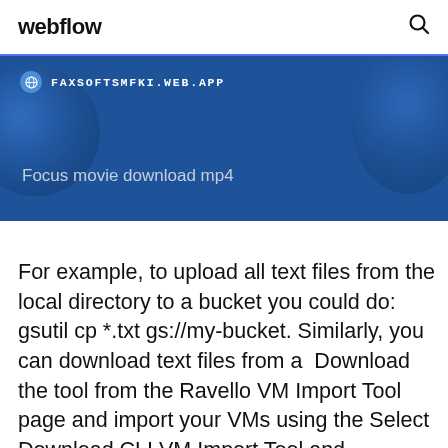webflow
[Figure (screenshot): Blue banner with URL bar showing FAXSOFTSMFKI.WEB.APP and text 'Focus movie download mp4' on a dark blue background with globe graphics]
For example, to upload all text files from the local directory to a bucket you could do: gsutil cp *.txt gs://my-bucket. Similarly, you can download text files from a  Download the tool from the Ravello VM Import Tool page and import your VMs using the Select Download CLI VM Import Tool and